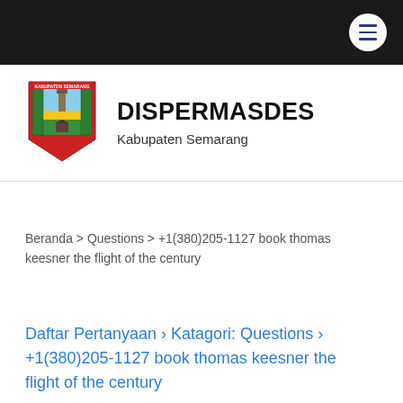[Figure (other): Black navigation bar with hamburger menu icon (three horizontal lines) in a white circle on the right side]
[Figure (logo): Kabupaten Semarang regional government coat of arms / logo. Shield shape with red border, green and yellow decorative pattern, central image with monument and landscape.]
DISPERMASDES
Kabupaten Semarang
Beranda > Questions > +1(380)205-1127 book thomas keesner the flight of the century
Daftar Pertanyaan › Katagori: Questions › +1(380)205-1127 book thomas keesner the flight of the century